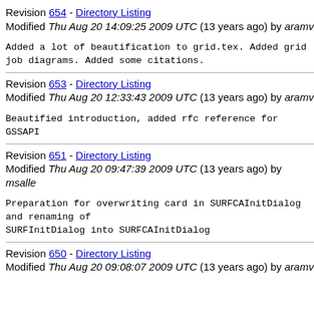Revision 654 - Directory Listing
Modified Thu Aug 20 14:09:25 2009 UTC (13 years ago) by aramv
Added a lot of beautification to grid.tex. Added grid job diagrams. Added some citations.
Revision 653 - Directory Listing
Modified Thu Aug 20 12:33:43 2009 UTC (13 years ago) by aramv
Beautified introduction, added rfc reference for GSSAPI
Revision 651 - Directory Listing
Modified Thu Aug 20 09:47:39 2009 UTC (13 years ago) by msalle
Preparation for overwriting card in SURFCAInitDialog and renaming of
SURFInitDialog into SURFCAInitDialog
Revision 650 - Directory Listing
Modified Thu Aug 20 09:08:07 2009 UTC (13 years ago) by aramv